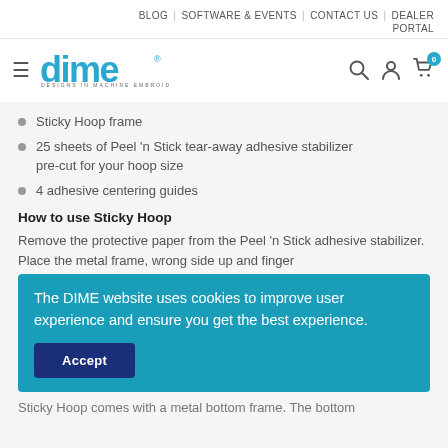BLOG | SOFTWARE & EVENTS | CONTACT US | DEALER PORTAL
[Figure (logo): DIME - Designs in Machine Embroidery logo with navigation icons]
Sticky Hoop frame
25 sheets of Peel 'n Stick tear-away adhesive stabilizer pre-cut for your hoop size
4 adhesive centering guides
How to use Sticky Hoop
Remove the protective paper from the Peel 'n Stick adhesive stabilizer. Place the metal frame, wrong side up and finger
The DIME website uses cookies to improve user experience and ensure you get the best experience.
Sticky Hoop comes with a metal bottom frame. The bottom